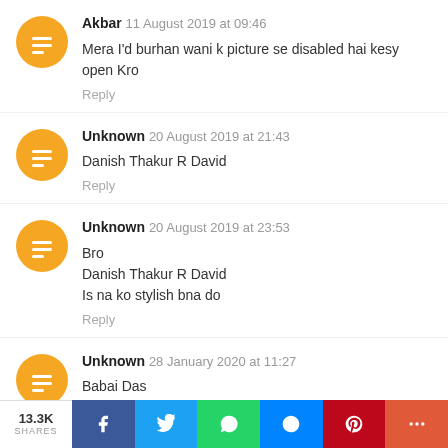Akbar 11 August 2019 at 09:46 — Mera I'd burhan wani k picture se disabled hai kesy open Kro — Reply
Unknown 20 August 2019 at 21:43 — Danish Thakur R David — Reply
Unknown 20 August 2019 at 23:53 — Bro
Danish Thakur R David
Is na ko stylish bna do — Reply
Unknown 28 January 2020 at 11:27 — Babai Das — Reply
[Figure (infographic): Social share bar at bottom: 13.3K SHARES, Facebook, Twitter, WhatsApp, Messenger, Pinterest, More buttons]